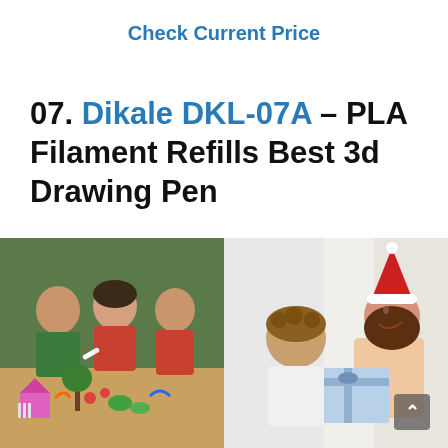Check Current Price
07. Dikale DKL-07A – PLA Filament Refills Best 3d Drawing Pen
[Figure (photo): Two children (a boy and a girl) looking at a 3D drawing/artwork made with a 3D pen, with colorful artwork visible in the foreground]